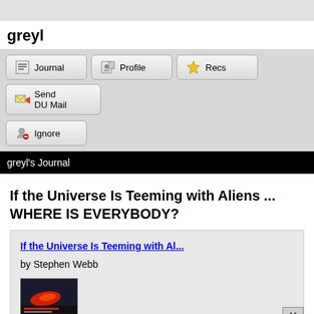greyl
[Figure (screenshot): Navigation buttons: Journal, Profile, Recs, Send DU Mail, Ignore]
greyl's Journal
If the Universe Is Teeming with Aliens ... WHERE IS EVERYBODY?
If the Universe Is Teeming with Al...
by Stephen Webb
[Figure (photo): Book cover thumbnail for 'If the Universe Is Teeming with Aliens... WHERE IS EVERYBODY?']